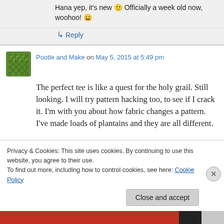Hana yep, it's new 🙂 Officially a week old now, woohoo! 😀
↳ Reply
Pootle and Make on May 5, 2015 at 5:49 pm
The perfect tee is like a quest for the holy grail. Still looking. I will try pattern hacking too, to see if I crack it. I'm with you about how fabric changes a pattern. I've made loads of plantains and they are all different.
Privacy & Cookies: This site uses cookies. By continuing to use this website, you agree to their use.
To find out more, including how to control cookies, see here: Cookie Policy
Close and accept